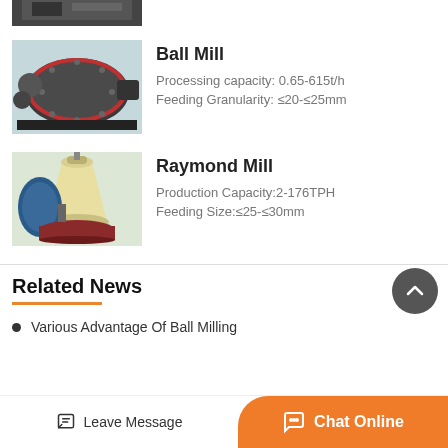[Figure (photo): Partial view of industrial machinery at top (cropped)]
[Figure (photo): Ball Mill industrial grinding machine, large cylindrical drum with attached motor]
Ball Mill
Processing capacity: 0.65-615t/h
Feeding Granularity: ≤20-≤25mm
[Figure (photo): Raymond Mill industrial grinding machine, blue and cream colored vertical mill]
Raymond Mill
Production Capacity:2-176TPH
Feeding Size:≤25-≤30mm
Related News
Various Advantage Of Ball Milling
Leave Message
Chat Online